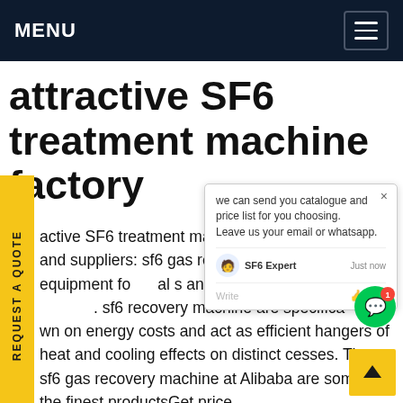MENU
attractive SF6 treatment machine factory
attractive SF6 treatment machine factory products and suppliers: sf6 gas recovery machine are important sets of equipment for and aid in a host of distinct sf6 recovery machine are specifically cut down on energy costs and act as efficient hangers of heat and cooling effects on distinct cesses. The. sf6 gas recovery machine at Alibaba are some of the finest productsGet price